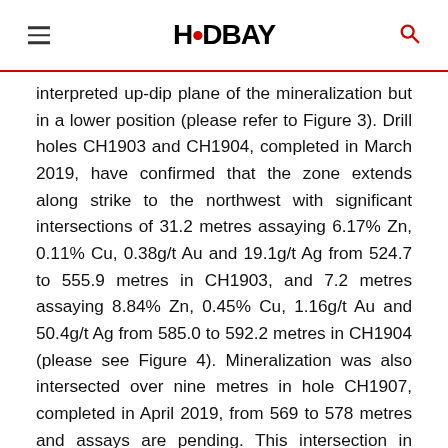HUDBAY
interpreted up-dip plane of the mineralization but in a lower position (please refer to Figure 3). Drill holes CH1903 and CH1904, completed in March 2019, have confirmed that the zone extends along strike to the northwest with significant intersections of 31.2 metres assaying 6.17% Zn, 0.11% Cu, 0.38g/t Au and 19.1g/t Ag from 524.7 to 555.9 metres in CH1903, and 7.2 metres assaying 8.84% Zn, 0.45% Cu, 1.16g/t Au and 50.4g/t Ag from 585.0 to 592.2 metres in CH1904 (please see Figure 4). Mineralization was also intersected over nine metres in hole CH1907, completed in April 2019, from 569 to 578 metres and assays are pending. This intersection in CH1907 is located approximately 70 metres southeast of the intersection in hole CH1901. Overall, the zinc-rich